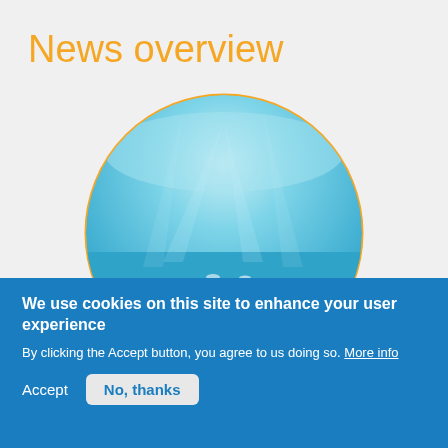News overview
[Figure (illustration): Underwater photograph of a school of fish in clear blue water, displayed inside a circle with an orange border. A parallelogram-shaped banner overlaps the bottom of the circle.]
We use cookies on this site to enhance your user experience
By clicking the Accept button, you agree to us doing so. More info
Accept   No, thanks